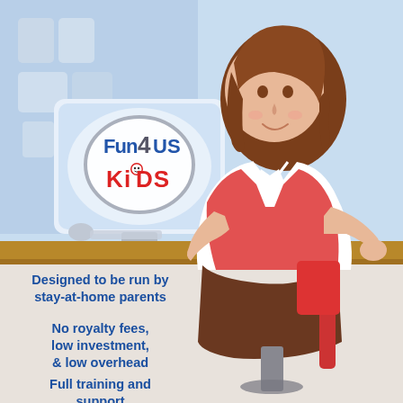[Figure (illustration): Illustrated woman sitting at a desk with a computer monitor showing the Fun4US Kids logo. Background is light blue with shelves. The lower half shows the woman from the waist down with a brown skirt. The desk has a golden-brown surface.]
Designed to be run by stay-at-home parents
No royalty fees, low investment, & low overhead
Full training and support